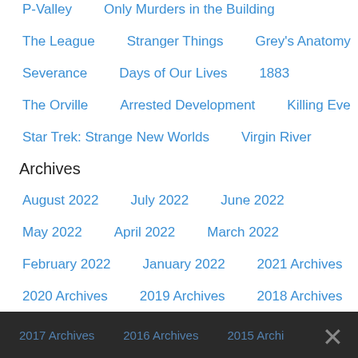P-Valley   Only Murders in the Building
The League   Stranger Things   Grey's Anatomy
Severance   Days of Our Lives   1883
The Orville   Arrested Development   Killing Eve
Star Trek: Strange New Worlds   Virgin River
Archives
August 2022   July 2022   June 2022
May 2022   April 2022   March 2022
February 2022   January 2022   2021 Archives
2020 Archives   2019 Archives   2018 Archives
2017 Archives   2016 Archives   2015 Archives